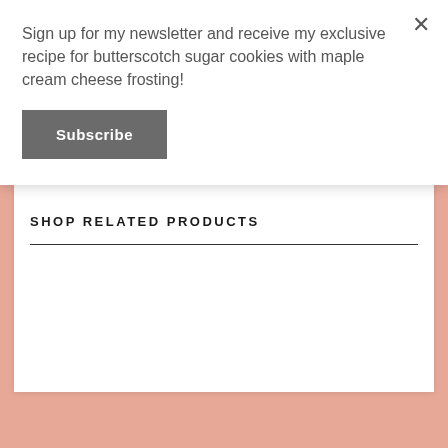Sign up for my newsletter and receive my exclusive recipe for butterscotch sugar cookies with maple cream cheese frosting!
Subscribe
×
SHOP RELATED PRODUCTS